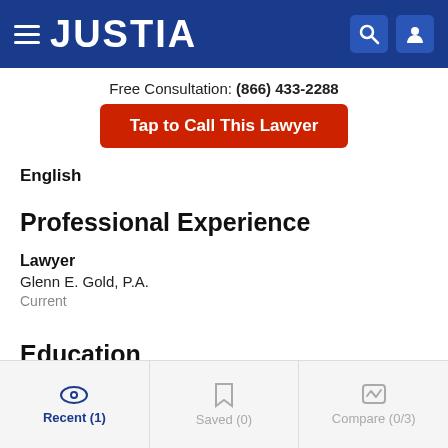JUSTIA
Free Consultation: (866) 433-2288
Tap to Call This Lawyer
English
Professional Experience
Lawyer
Glenn E. Gold, P.A.
Current
Education
Recent (1)  Saved (0)  Compare (0/3)